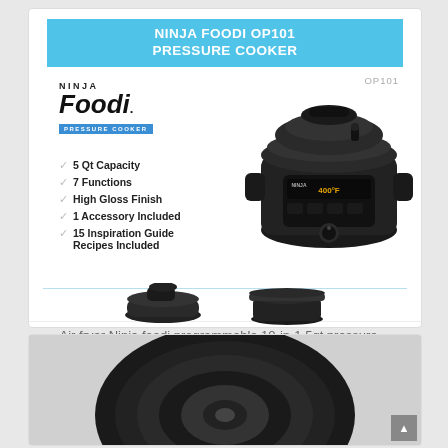NINJA FOODI OP101 PRESSURE COOKER
[Figure (photo): Product listing card for Ninja Foodi OP101 Pressure Cooker. Shows the Ninja Foodi logo with 'PRESSURE COOKER' badge, model number OP101, a dark-colored Ninja Foodi pressure cooker appliance, feature bullet list (5 Qt Capacity, 7 Functions, High Gloss Finish, 1 Accessory Included, 15 Inspiration Guide Recipes Included), and two accessory images (lid and basket) below a divider.]
Air fryer Ninja foodi programmable 10-in-1 5qt pressure…
[Figure (photo): Close-up top view of the Ninja Foodi pressure cooker lid, dark/black color, partially visible at the bottom of the page.]